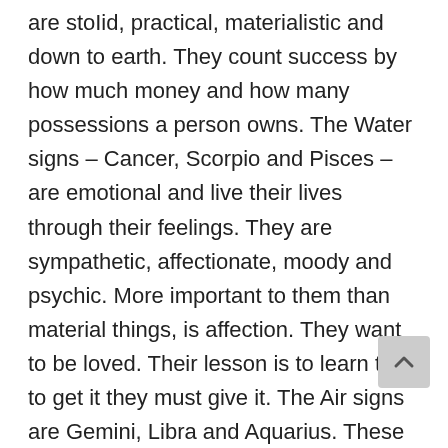are stoIid, practical, materialistic and down to earth. They count success by how much money and how many possessions a person owns. The Water signs – Cancer, Scorpio and Pisces – are emotional and live their lives through their feelings. They are sympathetic, affectionate, moody and psychic. More important to them than material things, is affection. They want to be loved. Their lesson is to learn that to get it they must give it. The Air signs are Gemini, Libra and Aquarius. These types are the intellectuals, and everything must be perceived through their minds. These four faces of God are in everything in the universe.
These elements show where our energies are concentrated, for they relate to the four bodies through which we function. Fire relates to the spirit, Water to the